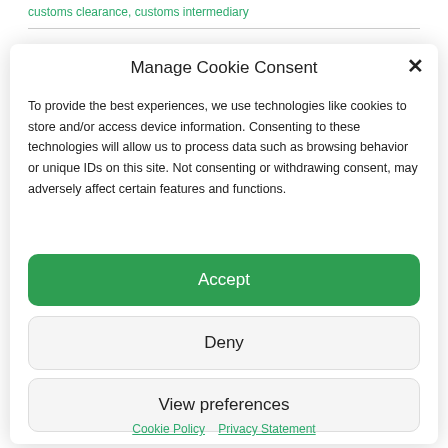customs clearance, customs intermediary
Manage Cookie Consent
To provide the best experiences, we use technologies like cookies to store and/or access device information. Consenting to these technologies will allow us to process data such as browsing behavior or unique IDs on this site. Not consenting or withdrawing consent, may adversely affect certain features and functions.
Accept
Deny
View preferences
Cookie Policy   Privacy Statement